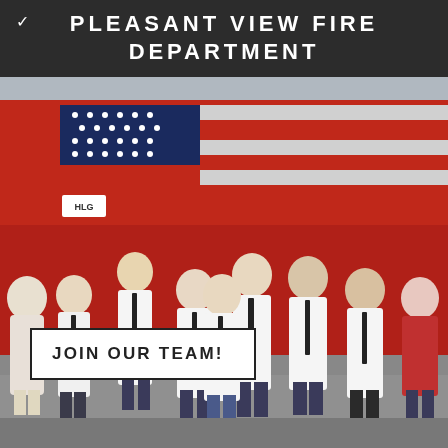PLEASANT VIEW FIRE DEPARTMENT
[Figure (photo): Group photo of Pleasant View Fire Department members posing in front of a red fire truck decorated with an American flag. Members are wearing white uniform shirts with ties and patches, along with jeans. Two civilians are also present.]
JOIN OUR TEAM!